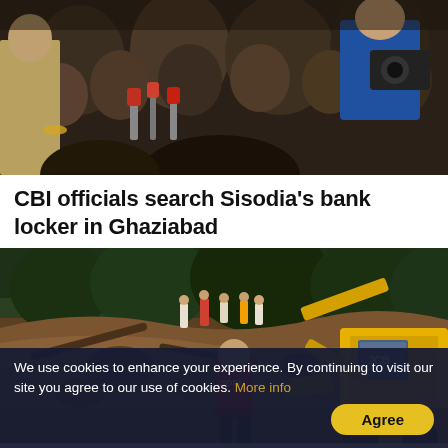[Figure (photo): Crowd scene with people, cameras, microphones; appears to be a press conference or media gathering with police officers visible.]
CBI officials search Sisodia's bank locker in Ghaziabad
[Figure (photo): Landslide disaster scene with muddy terrain, rocks, fallen trees; rescue workers and a yellow JCB excavator visible; a person in red SDPI jacket stands in foreground.]
We use cookies to enhance your experience. By continuing to visit our site you agree to our use of cookies. More info